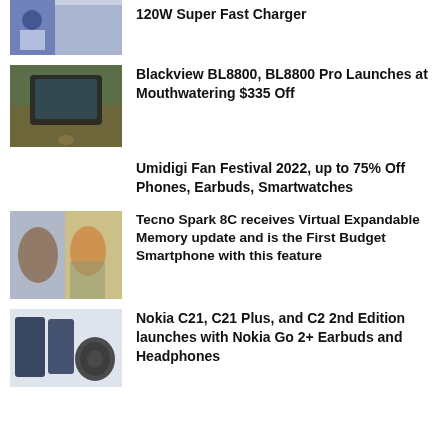[Figure (photo): Partial image of smartphone and person at top of page]
120W Super Fast Charger
[Figure (photo): Blackview BL8800 rugged smartphone on ground with leaves]
Blackview BL8800, BL8800 Pro Launches at Mouthwatering $335 Off
Umidigi Fan Festival 2022, up to 75% Off Phones, Earbuds, Smartwatches
[Figure (photo): Two women posing with Tecno Spark 8C smartphone]
Tecno Spark 8C receives Virtual Expandable Memory update and is the First Budget Smartphone with this feature
[Figure (photo): Nokia C21, C21 Plus, C2 devices with headphones]
Nokia C21, C21 Plus, and C2 2nd Edition launches with Nokia Go 2+ Earbuds and Headphones